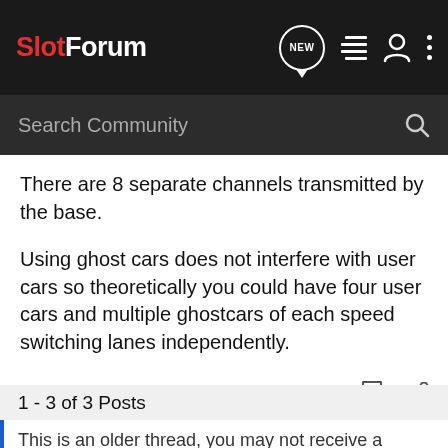SlotForum
There are 8 separate channels transmitted by the base.
Using ghost cars does not interfere with user cars so theoretically you could have four user cars and multiple ghostcars of each speed switching lanes independently.
While ghost cars of the same speed may share the same channel, they change lanes independently.
1 - 3 of 3 Posts
This is an older thread, you may not receive a response, and could be